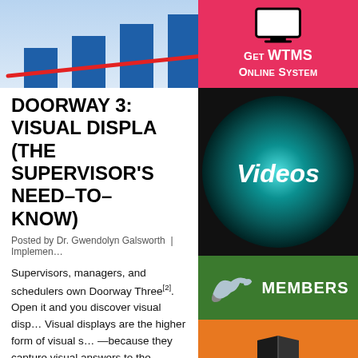[Figure (bar-chart): Bar chart with blue bars increasing in height and a red trend line going upward]
[Figure (infographic): Get WTMS Online System button with monitor icon on red background]
[Figure (infographic): Videos button with teal circular glow on dark background]
[Figure (infographic): Members button with bird image on green background]
[Figure (infographic): Get The Guide button with open book icon on orange background]
DOORWAY 3: VISUAL DISPLAYS (THE SUPERVISOR'S NEED-TO-KNOW)
Posted by Dr. Gwendolyn Galsworth | Implementation
Supervisors, managers, and schedulers own Doorway Three[2]. Open it and you discover visual displays. Visual displays are the higher form of visual standards—because they capture visual answers to the full range of operational questions as visual standards (where, what, when, who, how many, and how) in real-time, highly-interactive, centrally-located...
Among their remarkable characteristics, visual displays are capable of holding vast amounts of inter-related